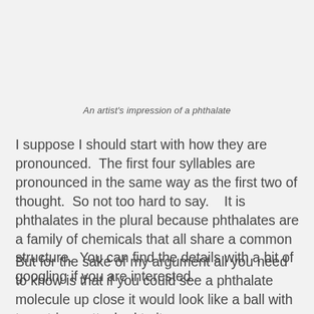An artist's impression of a phthalate
I suppose I should start with how they are pronounced.  The first four syllables are pronounced in the same way as the first two of thought.  So not too hard to say.   It is phthalates in the plural because phthalates are a family of chemicals that all share a common structure.  You can find the details with a bit of googling if you are interested.
But for the sake of my argument all you need to know is that if you could see a phthalate molecule up close it would look like a ball with two strings attached to it.